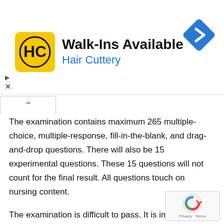[Figure (other): Hair Cuttery advertisement banner showing logo, 'Walk-Ins Available' text, and a blue navigation arrow icon]
The examination contains maximum 265 multiple-choice, multiple-response, fill-in-the-blank, and drag-and-drop questions. There will also be 15 experimental questions. These 15 questions will not count for the final result. All questions touch on nursing content.
The examination is difficult to pass. It is intentionally difficult to assess one's knowledge of nursing. It determines whether you are ready to qualify for a nurse and start practicing nursing.
Additional information on becoming a